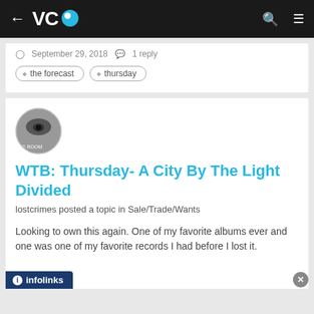VC (back arrow, search, menu)
September 29, 2018  1 Reply
the forecast
thursday
WTB: Thursday- A City By The Light Divided
lostcrimes posted a topic in Sale/Trade/Wants
Looking to own this again. One of my favorite albums ever and one was one of my favorite records I had before I lost it.